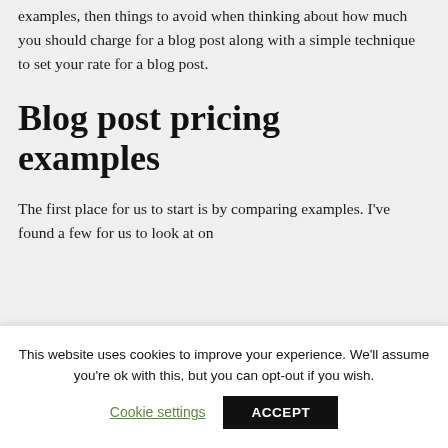examples, then things to avoid when thinking about how much you should charge for a blog post along with a simple technique to set your rate for a blog post.
Blog post pricing examples
The first place for us to start is by comparing examples. I've found a few for us to look at on
This website uses cookies to improve your experience. We'll assume you're ok with this, but you can opt-out if you wish.
Cookie settings   ACCEPT